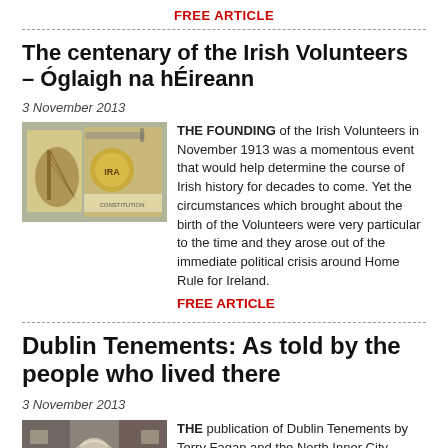FREE ARTICLE
The centenary of the Irish Volunteers – Óglaigh na hÉireann
3 November 2013
[Figure (photo): Illustration of Irish Volunteers memorabilia including harp emblem and historical documents]
THE FOUNDING of the Irish Volunteers in November 1913 was a momentous event that would help determine the course of Irish history for decades to come. Yet the circumstances which brought about the birth of the Volunteers were very particular to the time and they arose out of the immediate political crisis around Home Rule for Ireland.
FREE ARTICLE
Dublin Tenements: As told by the people who lived there
3 November 2013
[Figure (photo): Black and white photograph of a Dublin tenement building interior or alleyway]
THE publication of Dublin Tenements by Terry Fagan and the North Inner City Folklore Project is an important event not just for the